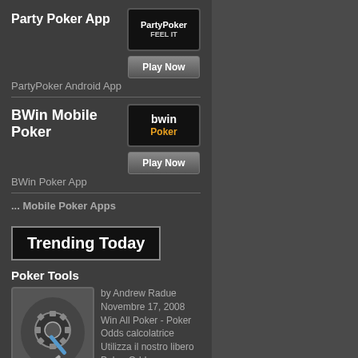Party Poker App
[Figure (logo): PartyPoker logo - black background with PartyPoker text and FEEL IT tagline]
[Figure (other): Play Now button]
PartyPoker Android App
BWin Mobile Poker
[Figure (logo): bwin Poker logo - black background with bwin in white and Poker in gold]
[Figure (other): Play Now button]
BWin Poker App
... Mobile Poker Apps
Trending Today
Poker Tools
[Figure (photo): Poker tools image showing mechanical tools/wrench]
by Andrew Radue Novembre 17, 2008 Win All Poker - Poker Odds calcolatrice Utilizza il nostro libero Poker Odds Calcolatrice a lavorare le… (6)
Contattaci